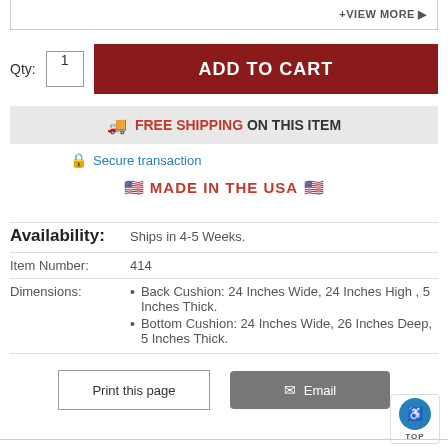+VIEW MORE ▶
Qty: 1
ADD TO CART
FREE SHIPPING ON THIS ITEM
Secure transaction
🇺🇸 MADE IN THE USA 🇺🇸
| Label | Value |
| --- | --- |
| Availability: | Ships in 4-5 Weeks. |
| Item Number: | 414 |
| Dimensions: | Back Cushion: 24 Inches Wide, 24 Inches High , 5 Inches Thick.
Bottom Cushion: 24 Inches Wide, 26 Inches Deep, 5 Inches Thick. |
Print this page
Email